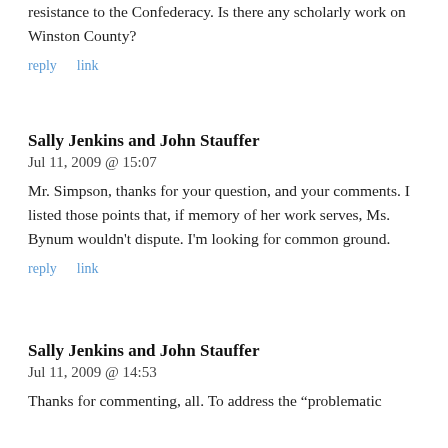resistance to the Confederacy. Is there any scholarly work on Winston County?
reply   link
Sally Jenkins and John Stauffer
Jul 11, 2009 @ 15:07
Mr. Simpson, thanks for your question, and your comments. I listed those points that, if memory of her work serves, Ms. Bynum wouldn’t dispute. I’m looking for common ground.
reply   link
Sally Jenkins and John Stauffer
Jul 11, 2009 @ 14:53
Thanks for commenting, all. To address the “problematic